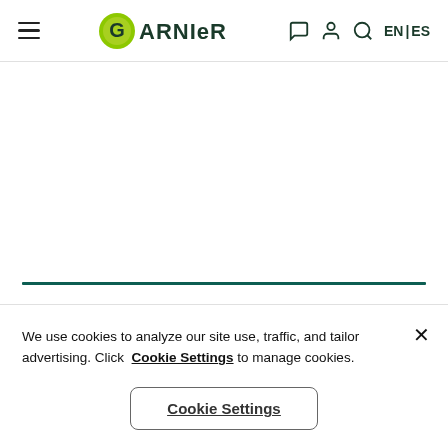[Figure (logo): Garnier logo with green circle G and dark text]
We use cookies to analyze our site use, traffic, and tailor advertising. Click Cookie Settings to manage cookies.
Cookie Settings (button)